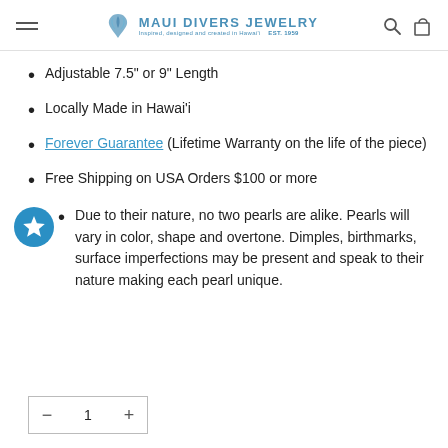Maui Divers Jewelry — Inspired, designed and created in Hawai'i EST. 1959
Adjustable 7.5" or 9" Length
Locally Made in Hawai'i
Forever Guarantee (Lifetime Warranty on the life of the piece)
Free Shipping on USA Orders $100 or more
Due to their nature, no two pearls are alike. Pearls will vary in color, shape and overtone. Dimples, birthmarks, surface imperfections may be present and speak to their nature making each pearl unique.